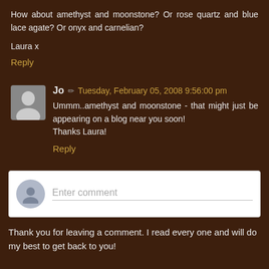How about amethyst and moonstone? Or rose quartz and blue lace agate? Or onyx and carnelian?
Laura x
Reply
Jo  Tuesday, February 05, 2008 9:56:00 pm
Ummm..amethyst and moonstone - that might just be appearing on a blog near you soon! Thanks Laura!
Reply
Enter comment
Thank you for leaving a comment. I read every one and will do my best to get back to you!